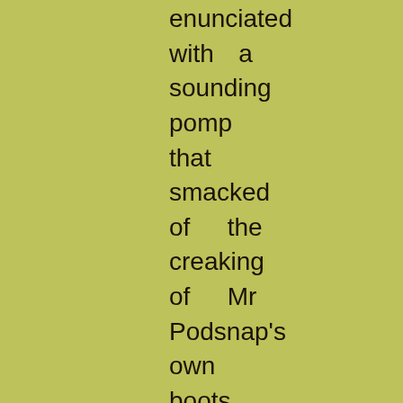enunciated with a sounding pomp that smacked of the creaking of Mr Podsnap's own boots.

There was a Miss Podsnap. And this